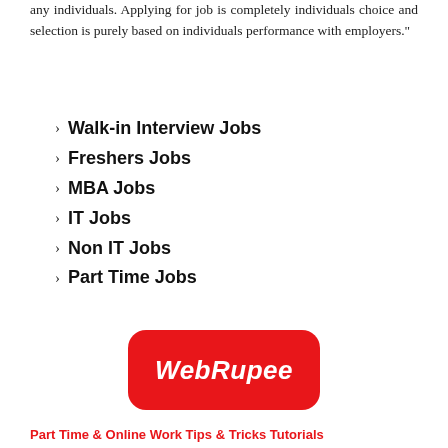any individuals. Applying for job is completely individuals choice and selection is purely based on individuals performance with employers."
Walk-in Interview Jobs
Freshers Jobs
MBA Jobs
IT Jobs
Non IT Jobs
Part Time Jobs
[Figure (logo): WebRupee logo — red rounded rectangle with white italic bold text 'WebRupee']
Part Time & Online Work Tips & Tricks Tutorials